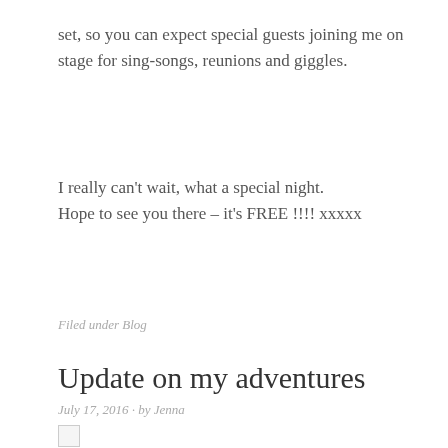set, so you can expect special guests joining me on stage for sing-songs, reunions and giggles.
I really can't wait, what a special night. Hope to see you there – it's FREE !!!! xxxxx
Filed under Blog
Update on my adventures
July 17, 2016 · by Jenna
[Figure (photo): Broken image placeholder]